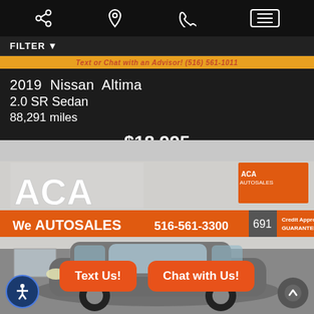Navigation bar with share, location, phone, and menu icons
FILTER
Text or Chat with an Advisor! (516) 561-1011
2019 Nissan Altima
2.0 SR Sedan
88,291 miles
$18,995
[Figure (photo): ACA Autosales dealership exterior with a Honda CR-V parked in front. Signs visible: ACA Autosales, 516-561-3300, 691, Credit Approval Guaranteed, Trade In's. Two orange CTA buttons: Text Us! and Chat with Us!]